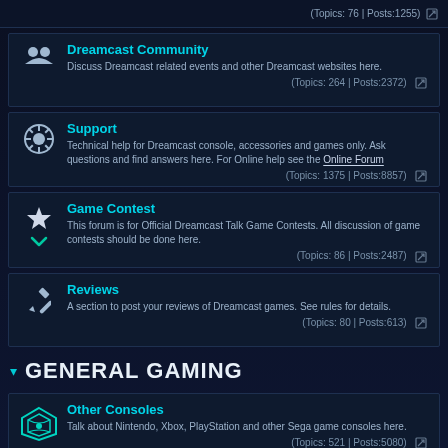(Topics: 76 | Posts:1255)
Dreamcast Community - Discuss Dreamcast related events and other Dreamcast websites here. (Topics: 264 | Posts:2372)
Support - Technical help for Dreamcast console, accessories and games only. Ask questions and find answers here. For Online help see the Online Forum (Topics: 1375 | Posts:8857)
Game Contest - This forum is for Official Dreamcast Talk Game Contests. All discussion of game contests should be done here. (Topics: 86 | Posts:2487)
Reviews - A section to post your reviews of Dreamcast games. See rules for details. (Topics: 80 | Posts:613)
GENERAL GAMING
Other Consoles - Talk about Nintendo, Xbox, PlayStation and other Sega game consoles here. (Topics: 521 | Posts:5080)
PC/Mac